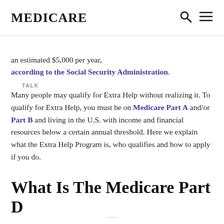MEDICARE
TALK
an estimated $5,000 per year, according to the Social Security Administration.
Many people may qualify for Extra Help without realizing it. To qualify for Extra Help, you must be on Medicare Part A and/or Part B and living in the U.S. with income and financial resources below a certain annual threshold. Here we explain what the Extra Help Program is, who qualifies and how to apply if you do.
What Is The Medicare Part D